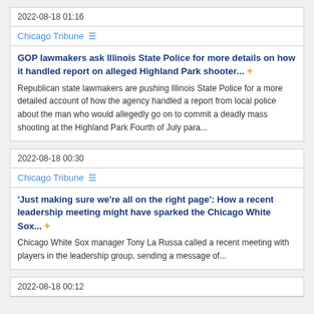2022-08-18 01:16
Chicago Tribune
GOP lawmakers ask Illinois State Police for more details on how it handled report on alleged Highland Park shooter... Republican state lawmakers are pushing Illinois State Police for a more detailed account of how the agency handled a report from local police about the man who would allegedly go on to commit a deadly mass shooting at the Highland Park Fourth of July para...
2022-08-18 00:30
Chicago Tribune
'Just making sure we're all on the right page': How a recent leadership meeting might have sparked the Chicago White Sox... Chicago White Sox manager Tony La Russa called a recent meeting with players in the leadership group, sending a message of...
2022-08-18 00:12